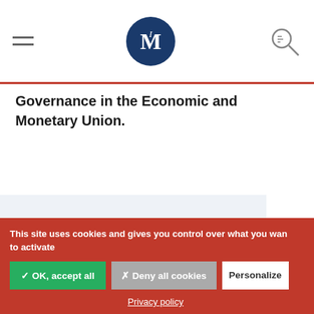[Figure (logo): Website navigation bar with hamburger menu, circular M logo (dark blue), and search icon on the right]
Governance in the Economic and Monetary Union.
[Figure (illustration): Eye icon in light blue above 'See also' text in a light blue-grey section]
See also
This site uses cookies and gives you control over what you want to activate
✓ OK, accept all
✗ Deny all cookies
Personalize
Privacy policy